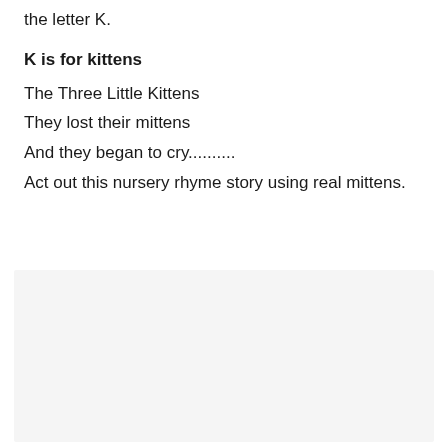the letter K.
K is for kittens
The Three Little Kittens
They lost their mittens
And they began to cry..........
Act out this nursery rhyme story using real mittens.
[Figure (other): Light gray blank image placeholder box]